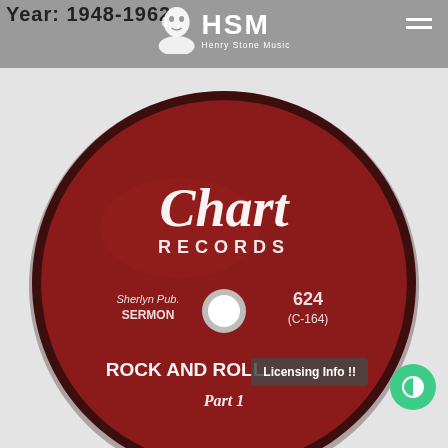Year: 1948-1962
[Figure (logo): Henry Stone Music (HSM) logo — silhouette of a man's face with HSM text and 'Henry Stone Music' subtitle, on grey background]
[Figure (photo): Photograph of a vintage red vinyl record label reading 'Chart Records', catalog number 624 (C-164), Sherlyn Pub., SERMON, ROCK AND ROLL Part 1. White circular hole in center.]
Licensing Info !!